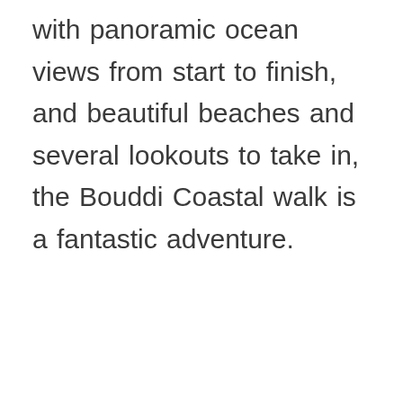with panoramic ocean views from start to finish, and beautiful beaches and several lookouts to take in, the Bouddi Coastal walk is a fantastic adventure.